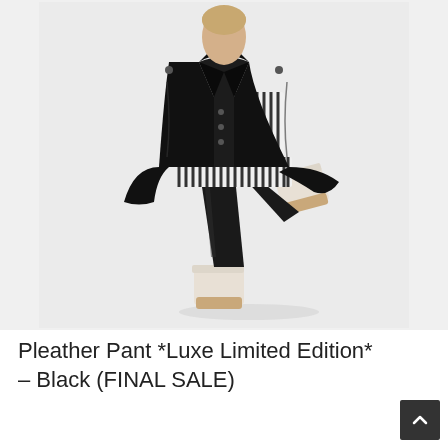[Figure (photo): A model wearing a black leather/pleather jacket over a black-and-white striped top, black pleather pants, and cream/beige ankle boots with a stacked wooden heel. She is posed with one leg raised, showing the boots. The background is plain light grey/white.]
Pleather Pant *Luxe Limited Edition* – Black (FINAL SALE)